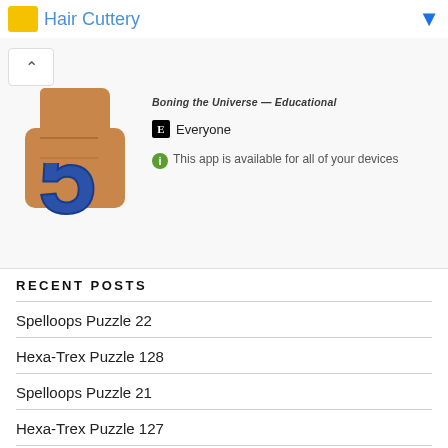Hair Cuttery
[Figure (screenshot): App store listing showing a puzzle app with a hand holding number 5, rated Everyone, available for all devices]
Boning the Universe — Educational
E Everyone
This app is available for all of your devices
RECENT POSTS
Spelloops Puzzle 22
Hexa-Trex Puzzle 128
Spelloops Puzzle 21
Hexa-Trex Puzzle 127
Spelloops Puzzle 20